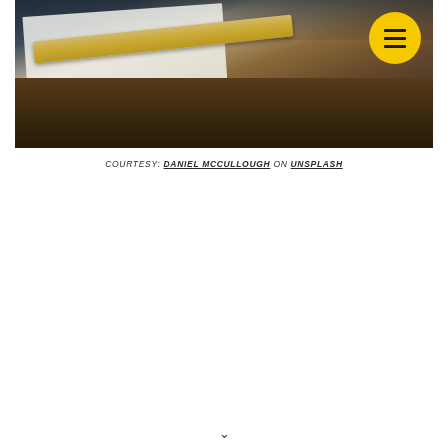[Figure (photo): A photograph showing an open notebook with papers and a wooden ruler on a dark wooden desk surface, taken from above at an angle. A yellow circular hamburger menu button is visible in the top-right corner of the image.]
COURTESY: DANIEL MCCULLOUGH ON UNSPLASH